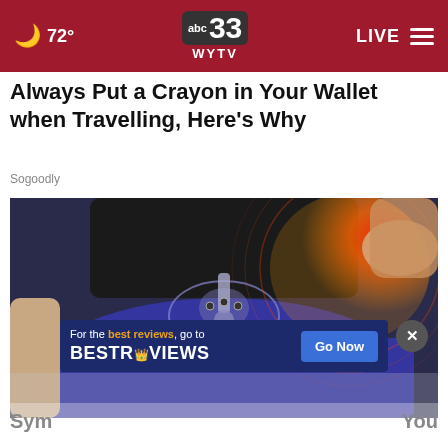72° | ABC 33 WYTV | LIVE
Always Put a Crayon in Your Wallet when Travelling, Here's Why
Sogoodly
[Figure (photo): Medical illustration showing a person in blue leggings with a hip joint X-ray overlay and a red pain area on their right hip, with a hand touching the painful area]
[Figure (infographic): Advertisement overlay: 'For the best reviews, go to BESTREVIEWS' with a 'Go Now' blue button]
Sym... You